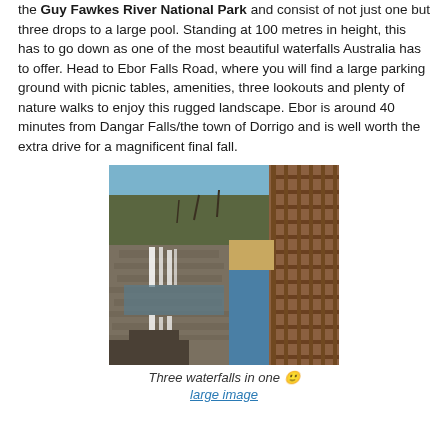the Guy Fawkes River National Park and consist of not just one but three drops to a large pool. Standing at 100 metres in height, this has to go down as one of the most beautiful waterfalls Australia has to offer. Head to Ebor Falls Road, where you will find a large parking ground with picnic tables, amenities, three lookouts and plenty of nature walks to enjoy this rugged landscape. Ebor is around 40 minutes from Dangar Falls/the town of Dorrigo and is well worth the extra drive for a magnificent final fall.
[Figure (photo): Photo of Ebor Falls showing three waterfalls dropping into a pool, taken from a wooden lookout/bridge railing on the right, with rocky cliffs and sparse dry trees in the background under a blue sky.]
Three waterfalls in one 🙂
large image